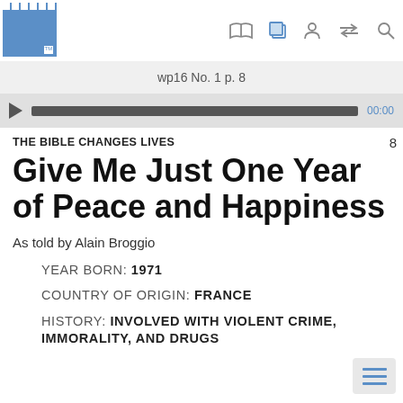wp16 No. 1 p. 8
THE BIBLE CHANGES LIVES
Give Me Just One Year of Peace and Happiness
As told by Alain Broggio
YEAR BORN: 1971
COUNTRY OF ORIGIN: FRANCE
HISTORY: INVOLVED WITH VIOLENT CRIME, IMMORALITY, AND DRUGS